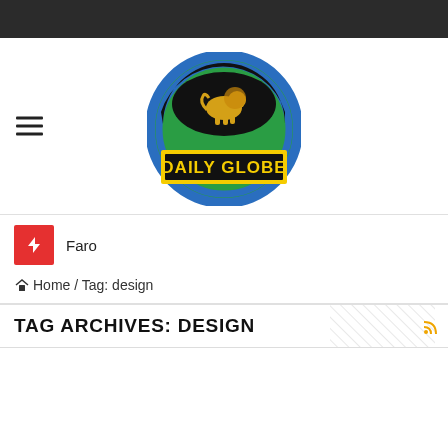[Figure (logo): Daily Globe logo: circular globe graphic in blue and green with a lion on black semicircle, yellow banner reading DAILY GLOBE]
Faro
Home / Tag: design
TAG ARCHIVES: DESIGN